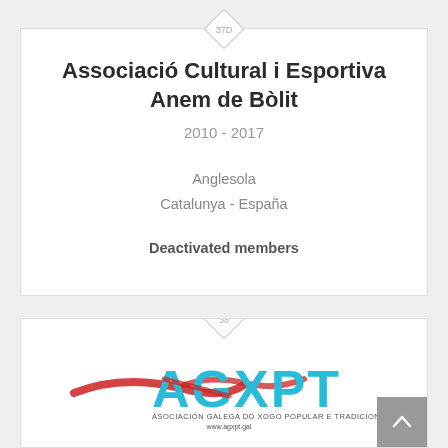37D
Associació Cultural i Esportiva Anem de Bòlit
2010 - 2017
Anglesola
Catalunya - España
Deactivated members
38
[Figure (logo): AGXPT logo — Asociación Galega do Xogo Popular e Tradicional, www.agxpt.gal, with red brushstroke accent]